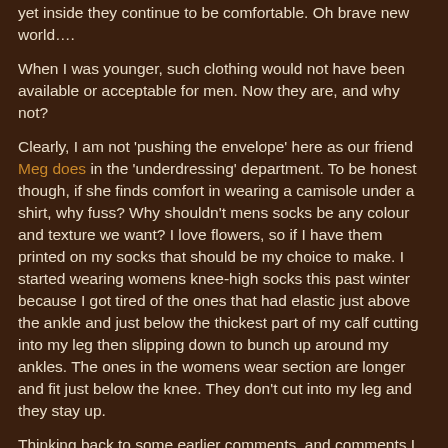yet inside they continue to be comfortable. Oh brave new world….
When I was younger, such clothing would not have been available or acceptable for men. Now they are, and why not?
Clearly, I am not 'pushing the envelope' here as our friend Meg does in the 'underdressing' department. To be honest though, if she finds comfort in wearing a camisole under a shirt, why fuss? Why shouldn't mens socks be any colour and texture we want? I love flowers, so if I have them printed on my socks that should be my choice to make. I started wearing womens knee-high socks this past winter because I got tired of the ones that had elastic just above the ankle and just below the thickest part of my calf cutting into my leg then slipping down to bunch up around my ankles. The ones in the womens wear section are longer and fit just below the knee. They don't cut into my leg and they stay up.
Thinking back to some earlier comments, and comments I have been reading on other sites recently, it is interesting how some see a slippery-slope in doing the things our heart